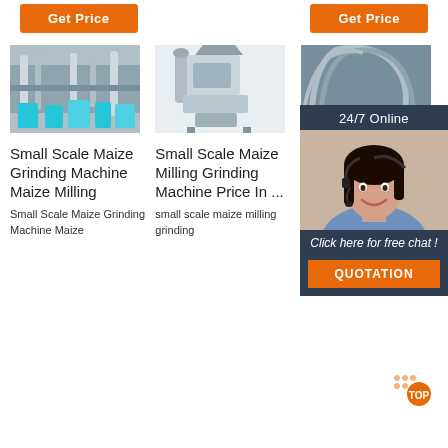[Figure (other): Orange 'Get Price' button on left]
[Figure (other): Orange 'Get Price' button on right]
[Figure (photo): Small scale maize grinding factory interior with pipes and equipment]
[Figure (photo): Small scale maize milling grinding machine on white background]
[Figure (photo): Industrial milling machinery]
Small Scale Maize Grinding Machine Maize Milling
Small Scale Maize Milling Grinding Machine Price In ...
W... U...
Small Scale Maize Grinding Machine Maize
small scale maize milling grinding
widely regarded as the quiet and fastest domestic flour
[Figure (other): 24/7 Online chat widget with female customer service representative photo, 'Click here for free chat!' text, and orange QUOTATION button]
[Figure (other): TOP badge with orange dot and dots pattern]